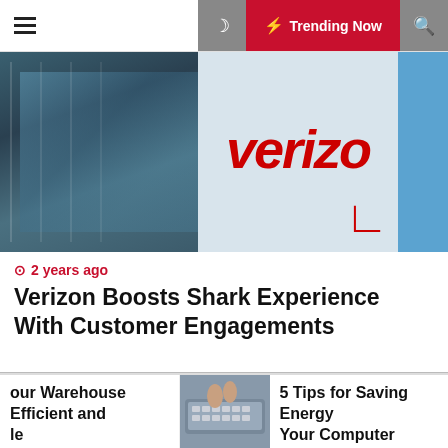☰  🌙  ⚡ Trending Now  🔍
[Figure (photo): Verizon building exterior with Verizon logo sign and blue sky]
⊙ 2 years ago
Verizon Boosts Shark Experience With Customer Engagements
[Figure (screenshot): Screenshot of TheWindowsClub website with handwritten annotations (Hi, Best, Test) in various colors]
our Warehouse Efficient and le
[Figure (photo): Hands typing on laptop keyboard]
5 Tips for Saving Energy 
Your Computer